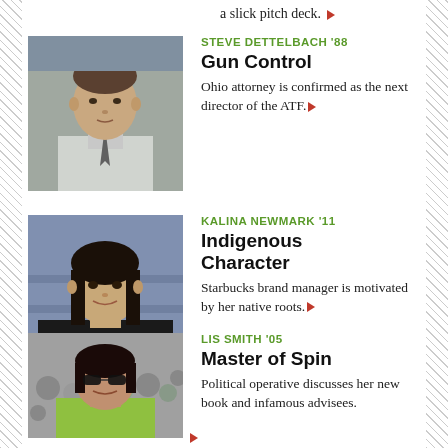a slick pitch deck. ▶
STEVE DETTELBACH '88
Gun Control
Ohio attorney is confirmed as the next director of the ATF. ▶
KALINA NEWMARK '11
Indigenous Character
Starbucks brand manager is motivated by her native roots. ▶
LIS SMITH '05
Master of Spin
Political operative discusses her new book and infamous advisees.